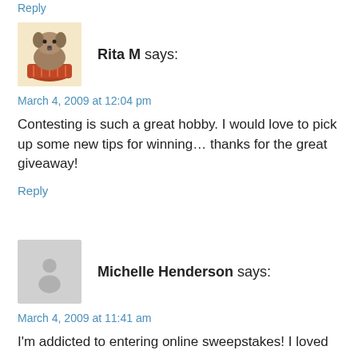Reply
[Figure (photo): Avatar photo of Rita M, a small dog in a decorative cup/basket]
Rita M says:
March 4, 2009 at 12:04 pm
Contesting is such a great hobby. I would love to pick up some new tips for winning… thanks for the great giveaway!
Reply
[Figure (illustration): Generic user avatar placeholder — gray silhouette of a person]
Michelle Henderson says:
March 4, 2009 at 11:41 am
I'm addicted to entering online sweepstakes! I loved